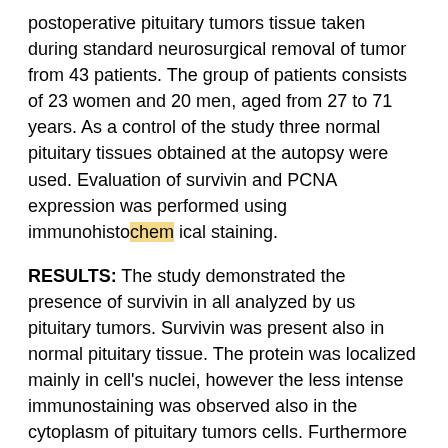postoperative pituitary tumors tissue taken during standard neurosurgical removal of tumor from 43 patients. The group of patients consists of 23 women and 20 men, aged from 27 to 71 years. As a control of the study three normal pituitary tissues obtained at the autopsy were used. Evaluation of survivin and PCNA expression was performed using immunohistochem ical staining.
RESULTS: The study demonstrated the presence of survivin in all analyzed by us pituitary tumors. Survivin was present also in normal pituitary tissue. The protein was localized mainly in cell's nuclei, however the less intense immunostaining was observed also in the cytoplasm of pituitary tumors cells. Furthermore survivin was found in normal pituitary, but the positive immunostaining was limited to a single cells. The analysis of pituitary tumor cells proliferation index based on PCNA reactivity showed that survivin is coexpressed with PCNA, especially in invasive tumors.
CONCLUSIONS: The study documented the presence of